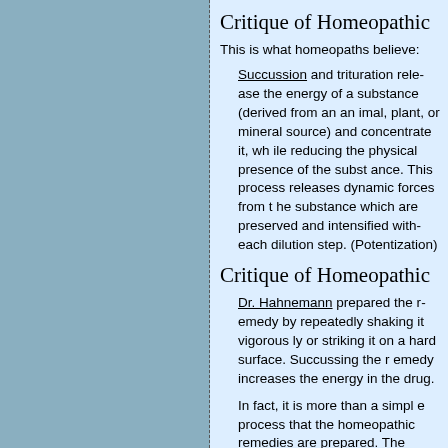Critique of Homeopathic
This is what homeopaths believe:
Succussion and trituration release the energy of a substance (derived from an animal, plant, or mineral source) and concentrate it, while reducing the physical presence of the substance. This process releases dynamic forces from the substance which are preserved and intensified with each dilution step. (Potentization)
Critique of Homeopathic
Dr. Hahnemann prepared the medicine by repeatedly shaking it vigorously or striking it on a hard surface. Succussing the remedy increases the energy in the drug.
In fact, it is more than a simple process that the homeopathic remedies are prepared. The liquid form of the substance is first dissolved in either water and/or alcohol. Then it is shaken; this shaking is called succussion and the process is termed "potentization"; the remedy gains energy in this process. ... Clearly, the action of the remedy is beyond chemical reactions and as we commonly understand it.